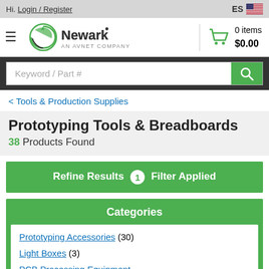Hi. Login / Register | ES
[Figure (logo): Newark - An Avnet Company logo with hamburger menu icon]
0 items $0.00
Keyword / Part #
< Tools & Production Supplies
Prototyping Tools & Breadboards
38 Products Found
Refine Results 1 Filter Applied
Categories
Prototyping Accessories (30)
Light Boxes (3)
PCB Processing Equipment (?)